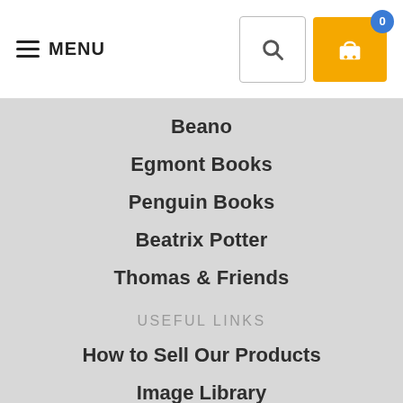MENU
Beano
Egmont Books
Penguin Books
Beatrix Potter
Thomas & Friends
USEFUL LINKS
How to Sell Our Products
Image Library
Coming Soon – SG Books
Book Contents Lists
Flip Books
Where's My Order?
Delivery Information